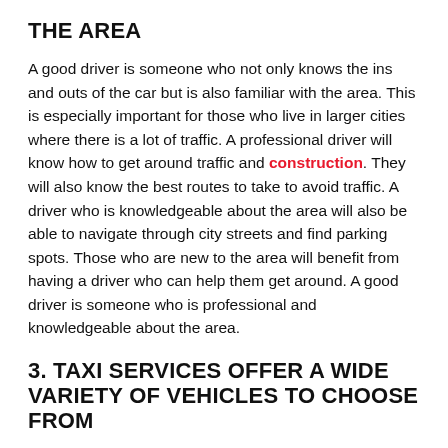THE AREA
A good driver is someone who not only knows the ins and outs of the car but is also familiar with the area. This is especially important for those who live in larger cities where there is a lot of traffic. A professional driver will know how to get around traffic and construction. They will also know the best routes to take to avoid traffic. A driver who is knowledgeable about the area will also be able to navigate through city streets and find parking spots. Those who are new to the area will benefit from having a driver who can help them get around. A good driver is someone who is professional and knowledgeable about the area.
3. TAXI SERVICES OFFER A WIDE VARIETY OF VEHICLES TO CHOOSE FROM
Taxi services offer a wide variety of vehicles to choose from.